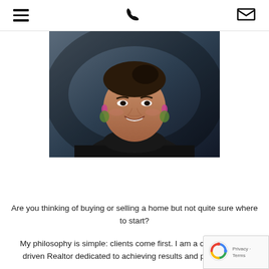Navigation header with hamburger menu, phone icon, and email icon
[Figure (photo): Professional headshot of a smiling Asian woman with dark hair pulled up, wearing decorative earrings and a black turtleneck, against a dark grey background]
WELCOME TO
Thu Le Real Estate Services
Are you thinking of buying or selling a home but not quite sure where to start?
My philosophy is simple: clients come first. I am a customer-driven Realtor dedicated to achieving results and providing